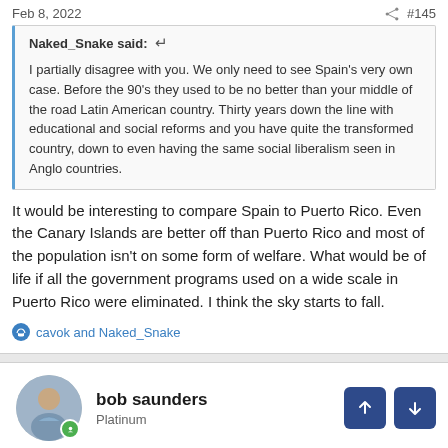Feb 8, 2022   #145
Naked_Snake said: ↩

I partially disagree with you. We only need to see Spain's very own case. Before the 90's they used to be no better than your middle of the road Latin American country. Thirty years down the line with educational and social reforms and you have quite the transformed country, down to even having the same social liberalism seen in Anglo countries.
It would be interesting to compare Spain to Puerto Rico. Even the Canary Islands are better off than Puerto Rico and most of the population isn't on some form of welfare. What would be of life if all the government programs used on a wide scale in Puerto Rico were eliminated. I think the sky starts to fall.
cavok and Naked_Snake
bob saunders
Platinum